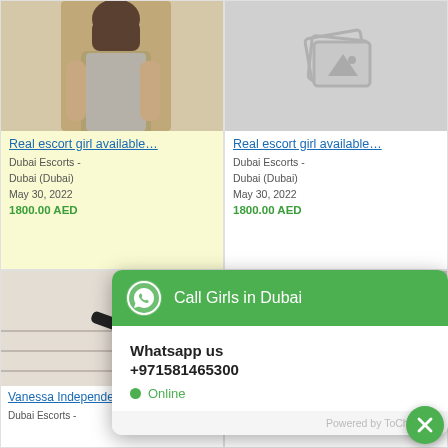[Figure (photo): Photo of a woman in a silver/gray dress]
Real escort girl available…
Dubai Escorts - Dubai (Dubai)
May 30, 2022
1800.00 AED
[Figure (photo): Placeholder image icon (no photo)]
Real escort girl available…
Dubai Escorts - Dubai (Dubai)
May 30, 2022
1800.00 AED
[Figure (photo): Photo of a woman in black top and plaid skirt on stairs]
Vanessa Independent E…
Dubai Escorts -
[Figure (screenshot): WhatsApp chat widget popup: Call Girls in Dubai, Whatsapp us +971581465300, Online, Powered by ToChat.be]
Escorts girls with real ph…
Dubai Escorts -